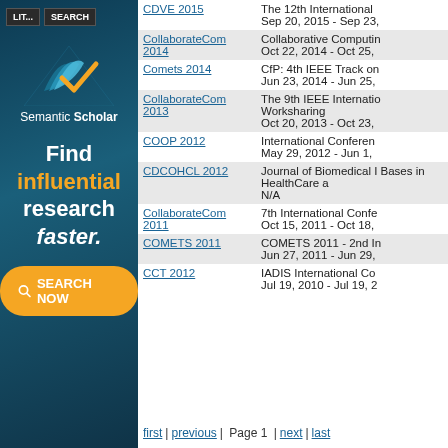[Figure (illustration): Semantic Scholar advertisement with logo, tagline 'Find influential research faster.' and SEARCH NOW button on dark teal background]
| Conference | Details |
| --- | --- |
| CDVE 2015 | The 12th International
Sep 20, 2015 - Sep 23, |
| CollaborateCom 2014 | Collaborative Computin
Oct 22, 2014 - Oct 25, |
| Comets 2014 | CfP: 4th IEEE Track on
Jun 23, 2014 - Jun 25, |
| CollaborateCom 2013 | The 9th IEEE Internatio Worksharing
Oct 20, 2013 - Oct 23, |
| COOP 2012 | International Conferen
May 29, 2012 - Jun 1, |
| CDCOHCL 2012 | Journal of Biomedical I Bases in HealthCare a
N/A |
| CollaborateCom 2011 | 7th International Confe
Oct 15, 2011 - Oct 18, |
| COMETS 2011 | COMETS 2011 - 2nd In
Jun 27, 2011 - Jun 29, |
| CCT 2012 | IADIS International Co
Jul 19, 2010 - Jul 19, 2 |